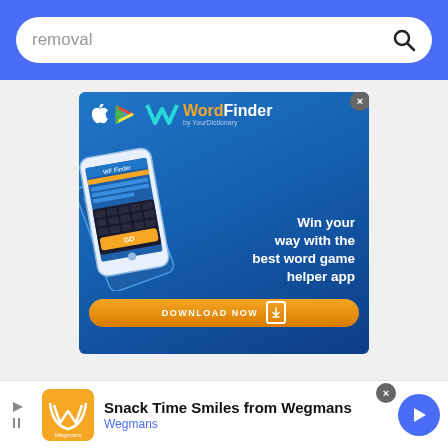[Figure (screenshot): Search bar with blue background showing 'removal' text and search icon]
[Figure (screenshot): WordFinder by YourDictionary app advertisement banner with blue background, phone graphic, tagline 'Win your way with the best word game helper app', and orange DOWNLOAD NOW button]
[Figure (screenshot): Bottom advertisement bar for 'Snack Time Smiles from Wegmans' with orange Wegmans logo, blue text link, and blue arrow icon, with skip/close controls]